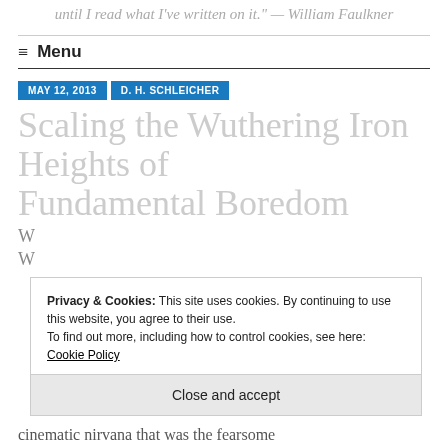until I read what I've written on it." — William Faulkner
≡ Menu
MAY 12, 2013   D. H. SCHLEICHER
Scaling the Wuthering Iron Heights of Fundamental Boredom
Privacy & Cookies: This site uses cookies. By continuing to use this website, you agree to their use.
To find out more, including how to control cookies, see here: Cookie Policy
Close and accept
cinematic nirvana that was the fearsome